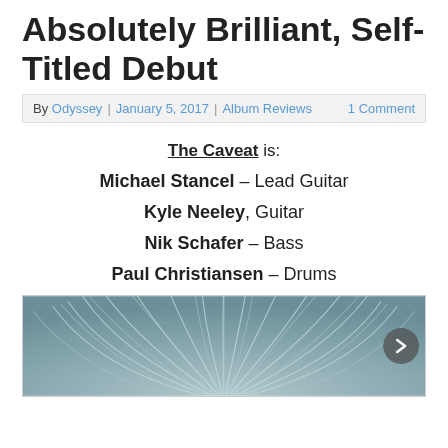Absolutely Brilliant, Self-Titled Debut
By Odyssey | January 5, 2017 |Album Reviews  1 Comment
The Caveat is:
Michael Stancel – Lead Guitar
Kyle Neeley, Guitar
Nik Schafer – Bass
Paul Christiansen – Drums
[Figure (photo): Album artwork with swirling concentric arc pattern on a blue-grey background, with a right navigation arrow button visible.]